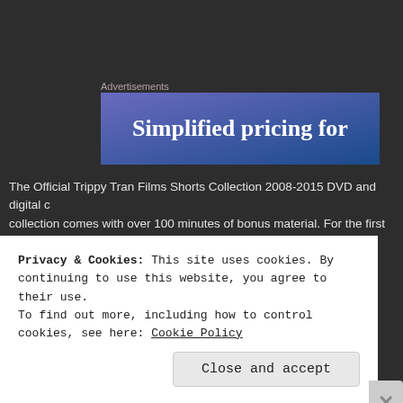Advertisements
[Figure (other): Advertisement banner with gradient blue background and text 'Simplified pricing for']
The Official Trippy Tran Films Shorts Collection 2008-2015 DVD and digital collection comes with over 100 minutes of bonus material. For the first time, list of slated goodies we are preparing exclusively for this set:
[Figure (photo): DVD cover showing circular portrait photos of people on a red background]
Privacy & Cookies: This site uses cookies. By continuing to use this website, you agree to their use.
To find out more, including how to control cookies, see here: Cookie Policy
Close and accept